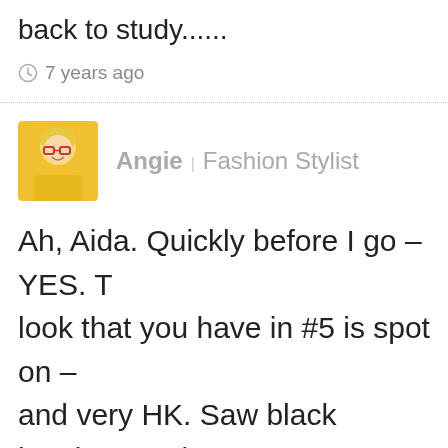back to study......
⊙ 7 years ago
Angie | Fashion Stylist
Ah, Aida. Quickly before I go – YES. The look that you have in #5 is spot on – and very HK. Saw black leggings under black culottes and shorts too. And of course – under all sorts of short flipp